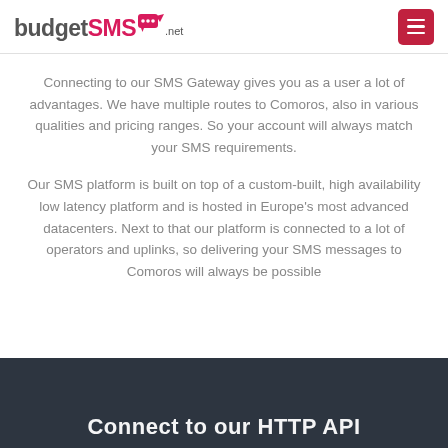[Figure (logo): budgetSMS.net logo with pink SMS icon and hamburger menu button]
Connecting to our SMS Gateway gives you as a user a lot of advantages. We have multiple routes to Comoros, also in various qualities and pricing ranges. So your account will always match your SMS requirements.
Our SMS platform is built on top of a custom-built, high availability low latency platform and is hosted in Europe's most advanced datacenters. Next to that our platform is connected to a lot of operators and uplinks, so delivering your SMS messages to Comoros will always be possible
Connect to our HTTP API